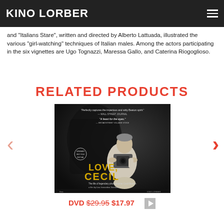KINO LORBER
and "Italians Stare", written and directed by Alberto Lattuada, illustrated the various "girl-watching" techniques of Italian males. Among the actors participating in the six vignettes are Ugo Tognazzi, Maressa Gallo, and Caterina Riogoglioso.
RELATED PRODUCTS
[Figure (photo): Movie poster for 'Love, Cecil' — a black and white photo of a man holding a camera, with yellow title text 'LOVE, CECIL' and subtitle 'The life of legendary photographer Cecil Beaton'. Awards laurels visible. KINO LORBER branding at bottom right.]
DVD $29.95 $17.97